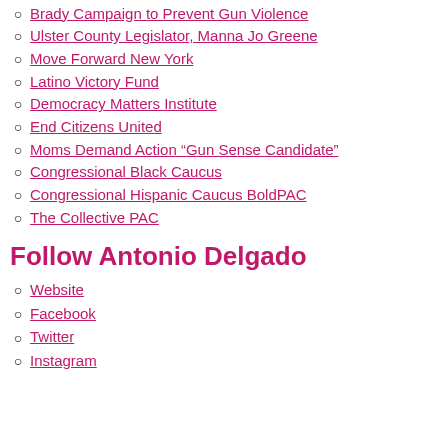Brady Campaign to Prevent Gun Violence
Ulster County Legislator, Manna Jo Greene
Move Forward New York
Latino Victory Fund
Democracy Matters Institute
End Citizens United
Moms Demand Action “Gun Sense Candidate”
Congressional Black Caucus
Congressional Hispanic Caucus BoldPAC
The Collective PAC
Follow Antonio Delgado
Website
Facebook
Twitter
Instagram